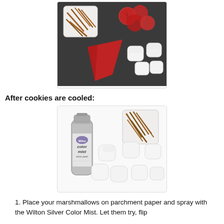[Figure (photo): Top-down view of baking ingredients on a dark pan: a white square bowl of pretzel sticks, several red/pink round cookies, a red piping bag, and white marshmallows on a dark baking sheet.]
After cookies are cooled:
[Figure (photo): Ingredients laid out on a white surface: a silver Wilton Color Mist spray can, white marshmallows scattered around, and a white square bowl of pretzel sticks.]
Place your marshmallows on parchment paper and spray with the Wilton Silver Color Mist. Let them try, flip